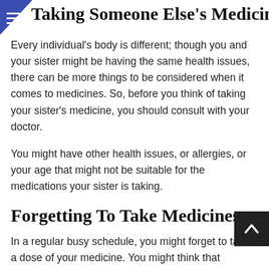Taking Someone Else's Medicines
Every individual's body is different; though you and your sister might be having the same health issues, there can be more things to be considered when it comes to medicines. So, before you think of taking your sister's medicine, you should consult with your doctor.
You might have other health issues, or allergies, or your age that might not be suitable for the medications your sister is taking.
Forgetting To Take Medicines
In a regular busy schedule, you might forget to take a dose of your medicine. You might think that missing out a single dose doesn't matter much. Actually, it is important indeed. Set the alarm on the time when you need to take your medicine.